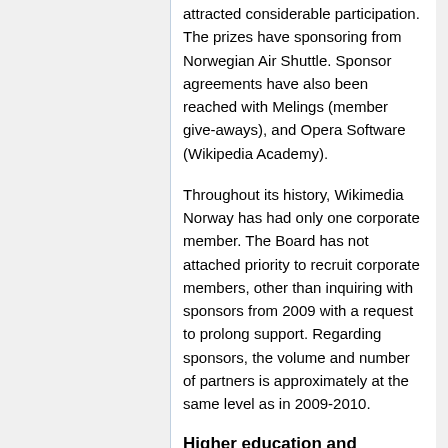attracted considerable participation. The prizes have sponsoring from Norwegian Air Shuttle. Sponsor agreements have also been reached with Melings (member give-aways), and Opera Software (Wikipedia Academy).
Throughout its history, Wikimedia Norway has had only one corporate member. The Board has not attached priority to recruit corporate members, other than inquiring with sponsors from 2009 with a request to prolong support. Regarding sponsors, the volume and number of partners is approximately at the same level as in 2009-2010.
Higher education and schools